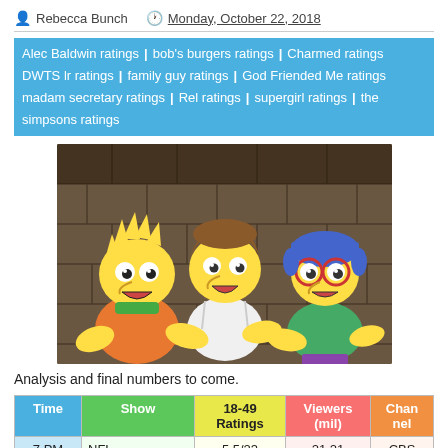Rebecca Bunch  Monday, October 22, 2018
Alec Baldwin ratings | bob's burgers ratings | Charmed ratings | DWTS lr ratings | family guy ratings | God Friended Me ratings | madam secretary ratings | Rel ratings | supergirl ratings | the simpsons ratings
[Figure (illustration): Animated scene from The Simpsons showing Bart Simpson, Nelson Muntz, and Milhouse Van Houten looking surprised in a stone/dungeon-like setting]
Analysis and final numbers to come.
| Time | Show | 18-49 Ratings | Viewers (mil) | Channel |
| --- | --- | --- | --- | --- |
| 7 PM | NFL | 5.5/23 | 21.21 | CBS |